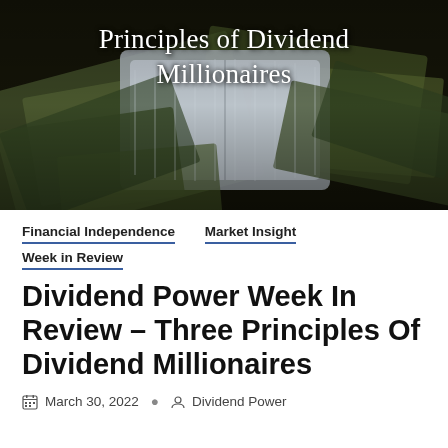[Figure (photo): Hero image showing stacks of US dollar bills scattered around an open metal briefcase, with white serif text overlay reading 'Principles of Dividend Millionaires']
Financial Independence   Market Insight
Week in Review
Dividend Power Week In Review – Three Principles Of Dividend Millionaires
March 30, 2022   Dividend Power